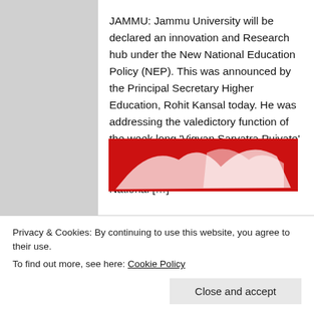JAMMU: Jammu University will be declared an innovation and Research hub under the New National Education Policy (NEP). This was announced by the Principal Secretary Higher Education, Rohit Kansal today. He was addressing the valedictory function of the week long 'Vigyan Sarvatra Pujyate' festival held here at University of Jammu. The festival coincided with National […]
Added on February 28, 2022   KI News
NC asks admin to
Privacy & Cookies: By continuing to use this website, you agree to their use.
To find out more, see here: Cookie Policy